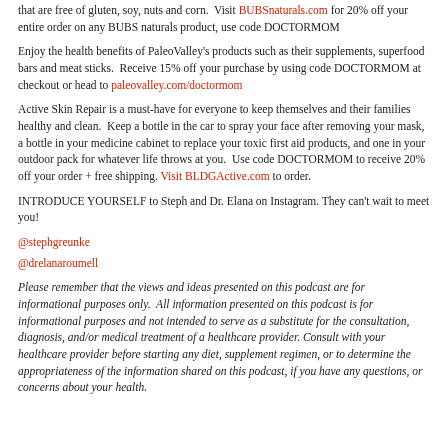that are free of gluten, soy, nuts and corn.  Visit BUBSnaturals.com for 20% off your entire order on any BUBS naturals product, use code DOCTORMOM
Enjoy the health benefits of PaleoValley's products such as their supplements, superfood bars and meat sticks.  Receive 15% off your purchase by using code DOCTORMOM at checkout or head to paleovalley.com/doctormom
Active Skin Repair is a must-have for everyone to keep themselves and their families healthy and clean.  Keep a bottle in the car to spray your face after removing your mask, a bottle in your medicine cabinet to replace your toxic first aid products, and one in your outdoor pack for whatever life throws at you.  Use code DOCTORMOM to receive 20% off your order + free shipping. Visit BLDGActive.com to order.
INTRODUCE YOURSELF to Steph and Dr. Elana on Instagram. They can't wait to meet you!
@stephgreunke
@drelanaroumell
Please remember that the views and ideas presented on this podcast are for informational purposes only.  All information presented on this podcast is for informational purposes and not intended to serve as a substitute for the consultation, diagnosis, and/or medical treatment of a healthcare provider. Consult with your healthcare provider before starting any diet, supplement regimen, or to determine the appropriateness of the information shared on this podcast, if you have any questions, or concerns about your health.